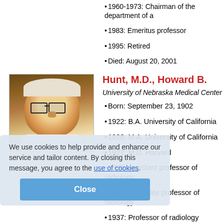1960-1973: Chairman of the department of a…
1983: Emeritus professor
1995: Retired
Died: August 20, 2001
[Figure (photo): Portrait photo of Howard B. Hunt, M.D., an elderly man with glasses and white hair]
Hunt, M.D., Howard B.
University of Nebraska Medical Center
Born: September 23, 1902
1922: B.A. University of California
1926: M.A. University of California
1927: M.D. Harvard
1930: Assistant professor of radiology
1934: Associate professor of radiology
1937: Professor of radiology